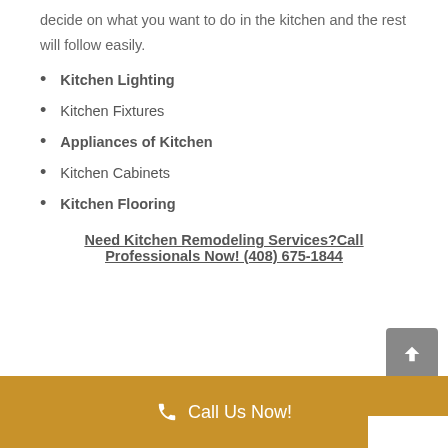decide on what you want to do in the kitchen and the rest will follow easily.
Kitchen Lighting
Kitchen Fixtures
Appliances of Kitchen
Kitchen Cabinets
Kitchen Flooring
Need Kitchen Remodeling Services? Call Professionals Now! (408) 675-1844
Call Us Now!